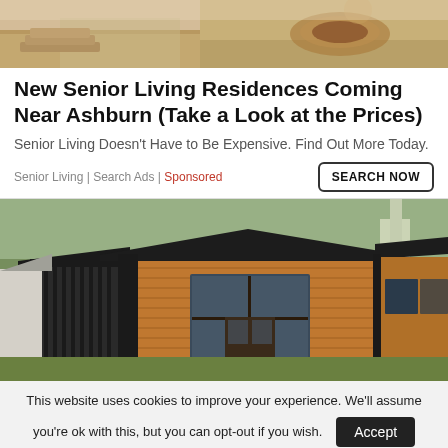[Figure (photo): Outdoor patio area with steps and furniture, top portion of a real estate advertisement image]
New Senior Living Residences Coming Near Ashburn (Take a Look at the Prices)
Senior Living Doesn't Have to Be Expensive. Find Out More Today.
Senior Living | Search Ads | Sponsored
SEARCH NOW
[Figure (photo): Exterior of a modern small house or cabin with wood siding, black trim, and large windows surrounded by trees]
This website uses cookies to improve your experience. We'll assume you're ok with this, but you can opt-out if you wish.
Accept
Read More